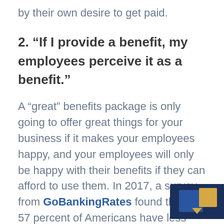by their own desire to get paid.
2. “If I provide a benefit, my employees perceive it as a benefit.”
A “great” benefits package is only going to offer great things for your business if it makes your employees happy, and your employees will only be happy with their benefits if they can afford to use them. In 2017, a survey from GoBankingRates found that 57 percent of Americans have less